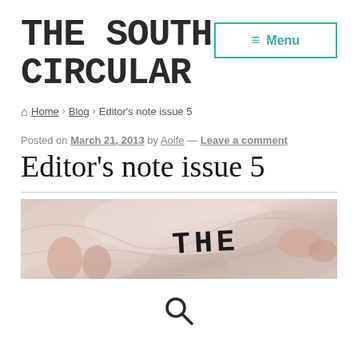THE SOUTH CIRCULAR
Menu
Home › Blog › Editor's note issue 5
Posted on March 21, 2013 by Aoife — Leave a comment
Editor's note issue 5
[Figure (photo): Banner image showing silky fabric/bedding with the text 'THE' visible in handwritten style, partially cropped.]
Search icon (magnifying glass)